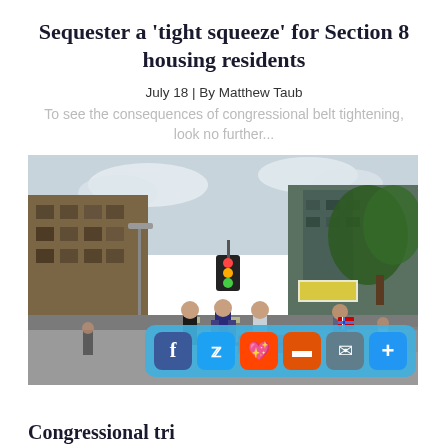Sequester a ‘tight squeeze’ for Section 8 housing residents
July 18 | By Matthew Taub
To see the consequences of congressional belt tightening, look no further...
[Figure (photo): Street scene showing people walking down an urban street during what appears to be a parade or public event. Buildings, traffic lights, and trees are visible. A person in the foreground wears a Norwegian flag backpack. A red banner is visible on the left.]
Congressional tri